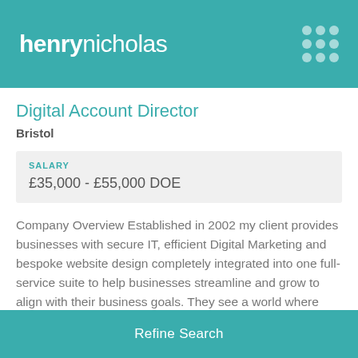henrynicholas
Digital Account Director
Bristol
| SALARY |
| --- |
| £35,000 - £55,000 DOE |
Company Overview Established in 2002 my client provides businesses with secure IT, efficient Digital Marketing and bespoke website design completely integrated into one full-service suite to help businesses streamline and grow to align with their business goals. They see a world where people and ...
Refine Search